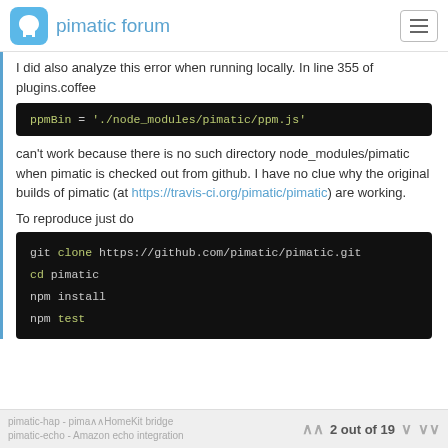pimatic forum
I did also analyze this error when running locally. In line 355 of plugins.coffee
[Figure (screenshot): Code block showing: ppmBin = './node_modules/pimatic/ppm.js']
can't work because there is no such directory node_modules/pimatic when pimatic is checked out from github. I have no clue why the original builds of pimatic (at https://travis-ci.org/pimatic/pimatic) are working.
To reproduce just do
[Figure (screenshot): Code block showing: git clone https://github.com/pimatic/pimatic.git
cd pimatic
npm install
npm test]
pimatic-hap - pimatic HomeKit bridge · pimatic-echo - Amazon echo integration · 2 out of 19